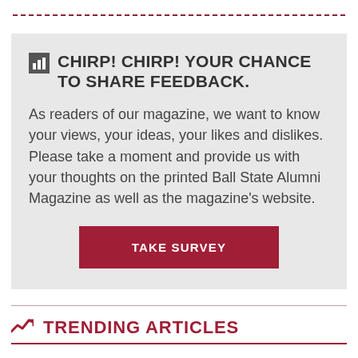CHIRP! CHIRP! YOUR CHANCE TO SHARE FEEDBACK.
As readers of our magazine, we want to know your views, your ideas, your likes and dislikes. Please take a moment and provide us with your thoughts on the printed Ball State Alumni Magazine as well as the magazine's website.
TAKE SURVEY
TRENDING ARTICLES